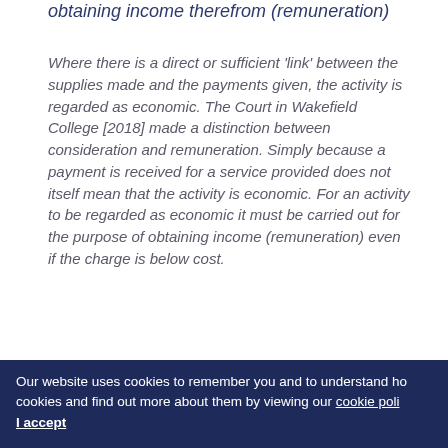obtaining income therefrom (remuneration)
Where there is a direct or sufficient 'link' between the supplies made and the payments given, the activity is regarded as economic. The Court in Wakefield College [2018] made a distinction between consideration and remuneration. Simply because a payment is received for a service provided does not itself mean that the activity is economic. For an activity to be regarded as economic it must be carried out for the purpose of obtaining income (remuneration) even if the charge is below cost.
We would suggest that all readers take an
Our website uses cookies to remember you and to understand how cookies and find out more about them by viewing our cookie policy. I accept